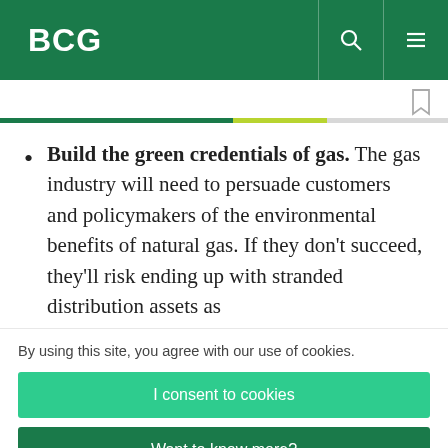BCG
Build the green credentials of gas. The gas industry will need to persuade customers and policymakers of the environmental benefits of natural gas. If they don't succeed, they'll risk ending up with stranded distribution assets as
By using this site, you agree with our use of cookies.
I consent to cookies
Want to know more?
Read our Cookie Policy